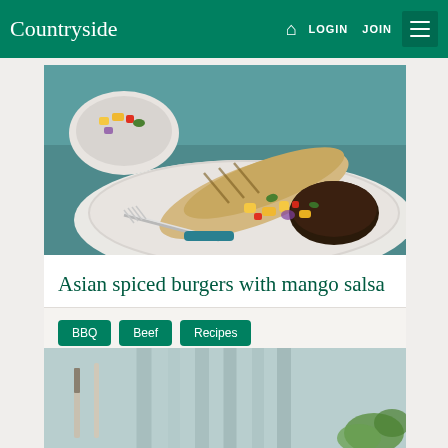Countryside | LOGIN | JOIN
[Figure (photo): Food photo: Asian spiced burgers with mango salsa served on a white decorative plate with flatbread and colorful mango salsa, fork with teal handle visible]
Asian spiced burgers with mango salsa
BBQ
Beef
Recipes
[Figure (photo): Partial food photo at bottom of page showing cutlery on a light blue/grey surface with greenery]